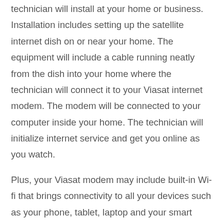Viasat internet service includes basic equipment that the technician will install at your home or business. Installation includes setting up the satellite internet dish on or near your home. The equipment will include a cable running neatly from the dish into your home where the technician will connect it to your Viasat internet modem. The modem will be connected to your computer inside your home. The technician will initialize internet service and get you online as you watch.
Plus, your Viasat modem may include built-in Wi-fi that brings connectivity to all your devices such as your phone, tablet, laptop and your smart home security cameras.